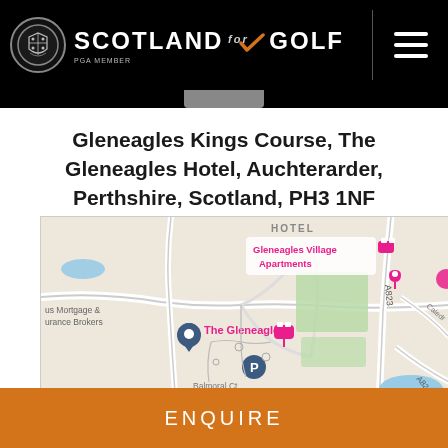Scotland for Golf – PGA MEMBER
Gleneagles Kings Course, The Gleneagles Hotel, Auchterarder, Perthshire, Scotland, PH3 1NF
[Figure (map): Google Maps screenshot showing the location of The Gleneagles Hotel near Auchterarder, Perthshire. Map shows Gleneagles Village Apartments, The Gleneagles pin, a parking icon, Balmoral Ct label, and road A823. Pink and blue map pins visible.]
ENQUIRE